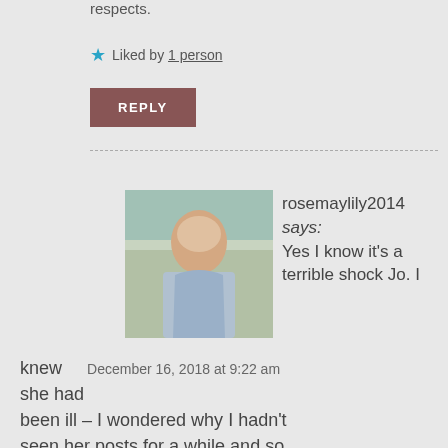respects.
★ Liked by 1 person
REPLY
rosemaylily2014 says: Yes I know it's a terrible shock Jo. I knew she had been ill – I wondered why I hadn't seen her posts for a while and so went onto her site where she'd updated a fellow blogger who was also concerned. I did exchange a few messages with her but hadn't
December 16, 2018 at 9:22 am